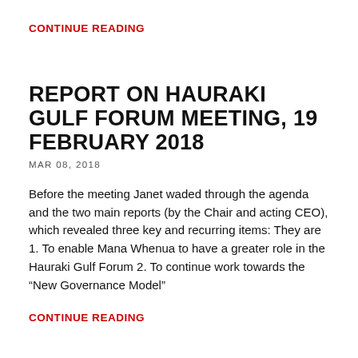CONTINUE READING
REPORT ON HAURAKI GULF FORUM MEETING, 19 FEBRUARY 2018
MAR 08, 2018
Before the meeting Janet waded through the agenda and the two main reports (by the Chair and acting CEO), which revealed three key and recurring items: They are 1. To enable Mana Whenua to have a greater role in the Hauraki Gulf Forum 2. To continue work towards the “New Governance Model”
CONTINUE READING